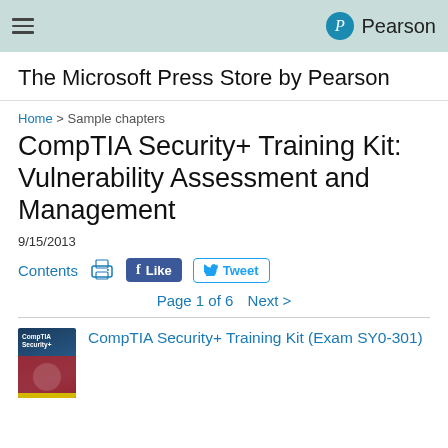The Microsoft Press Store by Pearson
Home > Sample chapters
CompTIA Security+ Training Kit: Vulnerability Assessment and Management
9/15/2013
Contents   [print icon]   Like   Tweet
Page 1 of 6   Next >
CompTIA Security+ Training Kit (Exam SY0-301)